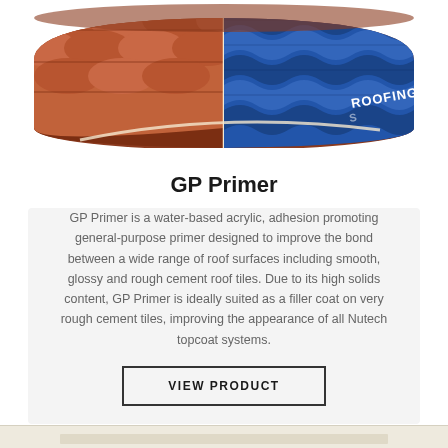[Figure (photo): A paint/primer bucket with roofing imagery showing terracotta roof tiles and blue corrugated roofing sheets, labeled ROOFING on the side]
GP Primer
GP Primer is a water-based acrylic, adhesion promoting general-purpose primer designed to improve the bond between a wide range of roof surfaces including smooth, glossy and rough cement roof tiles. Due to its high solids content, GP Primer is ideally suited as a filler coat on very rough cement tiles, improving the appearance of all Nutech topcoat systems.
VIEW PRODUCT